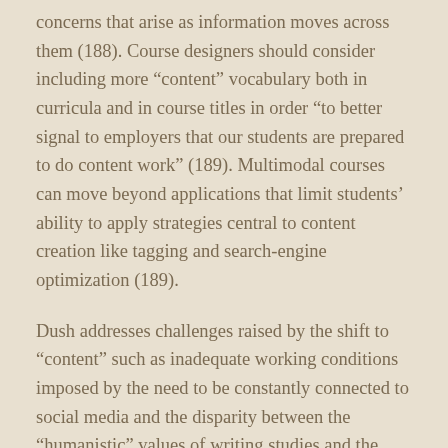concerns that arise as information moves across them (188). Course designers should consider including more “content” vocabulary both in curricula and in course titles in order “to better signal to employers that our students are prepared to do content work” (189). Multimodal courses can move beyond applications that limit students’ ability to apply strategies central to content creation like tagging and search-engine optimization (189).
Dush addresses challenges raised by the shift to “content” such as inadequate working conditions imposed by the need to be constantly connected to social media and the disparity between the “humanistic” values of writing studies and the profit- and efficiency-driven impulses of the content-oriented workplace (191). She sees as important concerns the degree to which writing itself may be “devalued” and the possible corollary that writing as traditionally understood will no longer be “a feasible profession” (191).